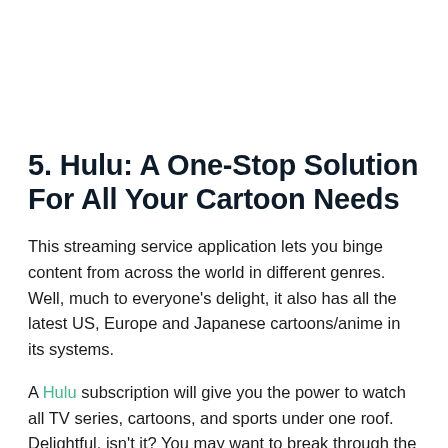5. Hulu: A One-Stop Solution For All Your Cartoon Needs
This streaming service application lets you binge content from across the world in different genres. Well, much to everyone's delight, it also has all the latest US, Europe and Japanese cartoons/anime in its systems.
A Hulu subscription will give you the power to watch all TV series, cartoons, and sports under one roof. Delightful, isn't it? You may want to break through the monotonous schedule of streaming TV series all day